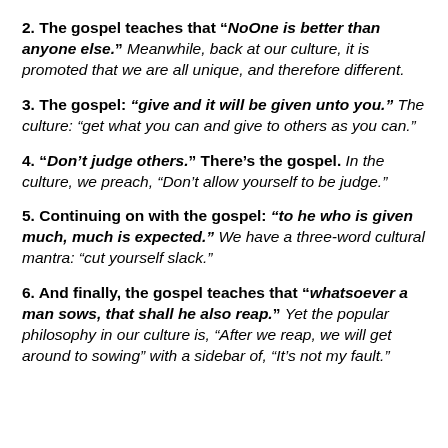2. The gospel teaches that “NoOne is better than anyone else.” Meanwhile, back at our culture, it is promoted that we are all unique, and therefore different.
3. The gospel: “give and it will be given unto you.” The culture: “get what you can and give to others as you can.”
4. “Don’t judge others.” There’s the gospel. In the culture, we preach, “Don’t allow yourself to be judge.”
5. Continuing on with the gospel: “to he who is given much, much is expected.” We have a three-word cultural mantra: “cut yourself slack.”
6. And finally, the gospel teaches that “whatsoever a man sows, that shall he also reap.” Yet the popular philosophy in our culture is, “After we reap, we will get around to sowing” with a sidebar of, “It’s not my fault.”